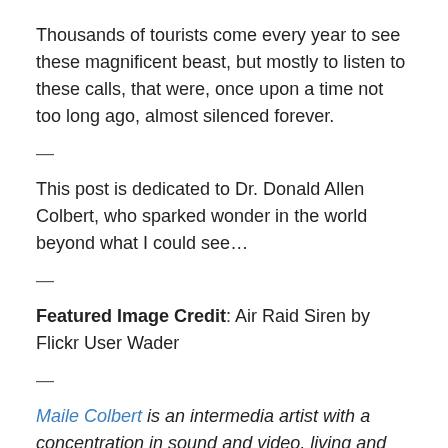Thousands of tourists come every year to see these magnificent beast, but mostly to listen to these calls, that were, once upon a time not too long ago, almost silenced forever.
—
This post is dedicated to Dr. Donald Allen Colbert, who sparked wonder in the world beyond what I could see…
—
Featured Image Credit: Air Raid Siren by Flickr User Wader
—
Maile Colbert is an intermedia artist with a concentration in sound and video, living and working between New York